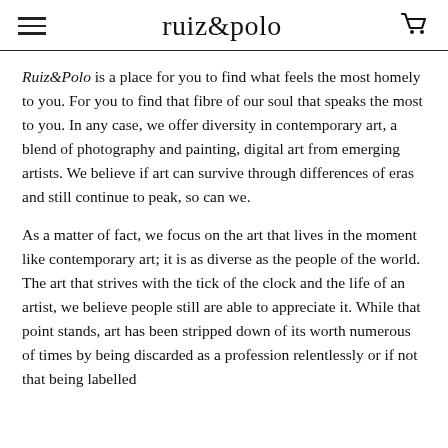ruiz&polo
Ruiz&Polo is a place for you to find what feels the most homely to you. For you to find that fibre of our soul that speaks the most to you. In any case, we offer diversity in contemporary art, a blend of photography and painting, digital art from emerging artists. We believe if art can survive through differences of eras and still continue to peak, so can we.
As a matter of fact, we focus on the art that lives in the moment like contemporary art; it is as diverse as the people of the world. The art that strives with the tick of the clock and the life of an artist, we believe people still are able to appreciate it. While that point stands, art has been stripped down of its worth numerous of times by being discarded as a profession relentlessly or if not that being labelled